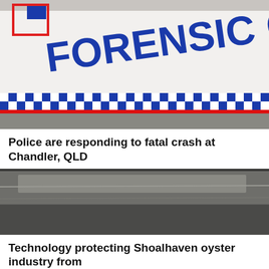[Figure (photo): Close-up of a white police forensic crash unit vehicle with blue 'FORENSIC CH...' text and red/blue checkered police pattern stripe]
Police are responding to fatal crash at Chandler, QLD
[Figure (photo): Partially visible news article image, appears dark/grey, related to oyster/water technology story]
Technology protecting Shoalhaven oyster industry from